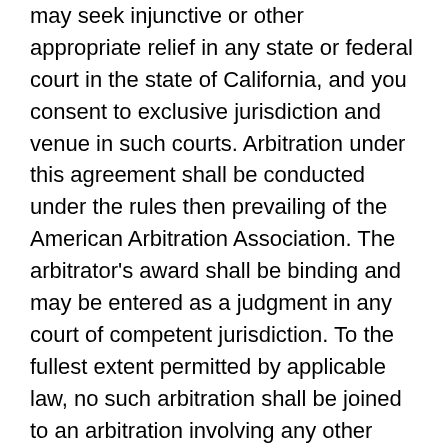may seek injunctive or other appropriate relief in any state or federal court in the state of California, and you consent to exclusive jurisdiction and venue in such courts. Arbitration under this agreement shall be conducted under the rules then prevailing of the American Arbitration Association. The arbitrator's award shall be binding and may be entered as a judgment in any court of competent jurisdiction. To the fullest extent permitted by applicable law, no such arbitration shall be joined to an arbitration involving any other party, whether through class arbitration proceedings or otherwise.
Indemnification
You agree to indemnify and hold harmless TableArt and its directors, officers, employees,